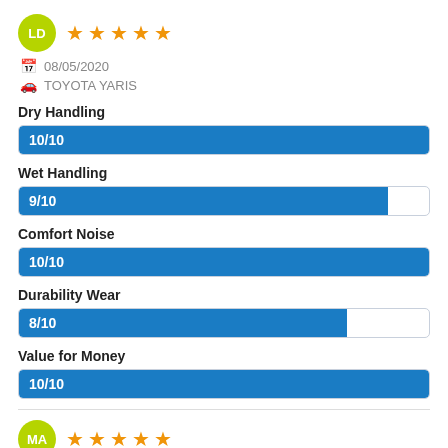[Figure (other): User avatar circle with initials LD in green]
★★★★★
08/05/2020
TOYOTA YARIS
Dry Handling
[Figure (bar-chart): Dry Handling]
Wet Handling
[Figure (bar-chart): Wet Handling]
Comfort Noise
[Figure (bar-chart): Comfort Noise]
Durability Wear
[Figure (bar-chart): Durability Wear]
Value for Money
[Figure (bar-chart): Value for Money]
[Figure (other): User avatar circle with initials MA in green]
★★★★★